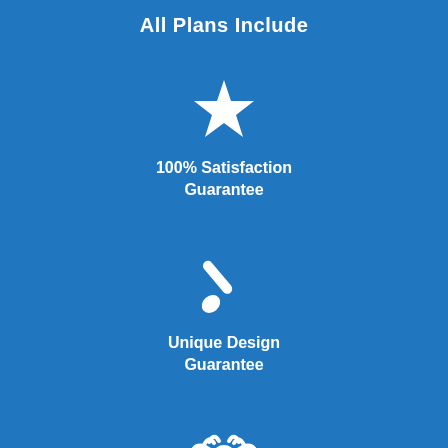All Plans Include
[Figure (illustration): White star icon]
100% Satisfaction Guarantee
[Figure (illustration): White paintbrush icon]
Unique Design Guarantee
[Figure (illustration): White handshake icon]